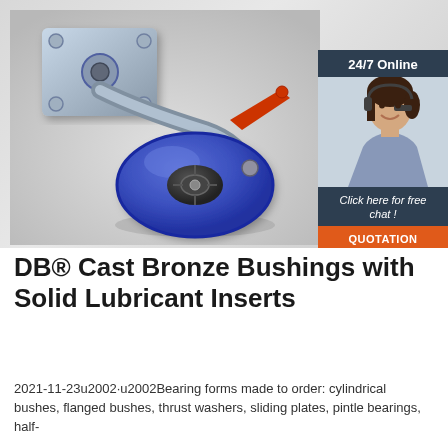[Figure (photo): A blue polyurethane swivel caster wheel with a metal top plate and red brake lever, photographed on a light grey background. To the right is a sidebar panel with a customer service representative wearing a headset, with '24/7 Online' text at top, 'Click here for free chat!' text in the middle, and an orange 'QUOTATION' button at the bottom.]
DB® Cast Bronze Bushings with Solid Lubricant Inserts
2021-11-23u2002·u2002Bearing forms made to order: cylindrical bushes, flanged bushes, thrust washers, sliding plates, pintle bearings, half-